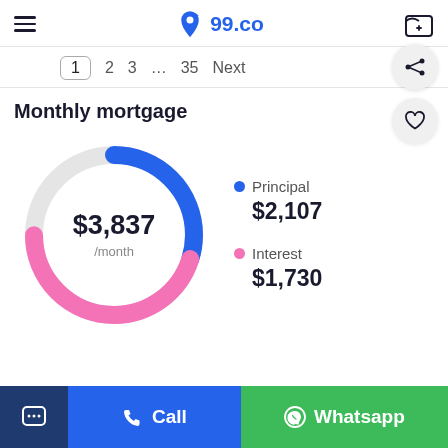99.co
[Figure (donut-chart): Monthly mortgage]
Monthly mortgage
$3,837 /month
Principal $2,107
Interest $1,730